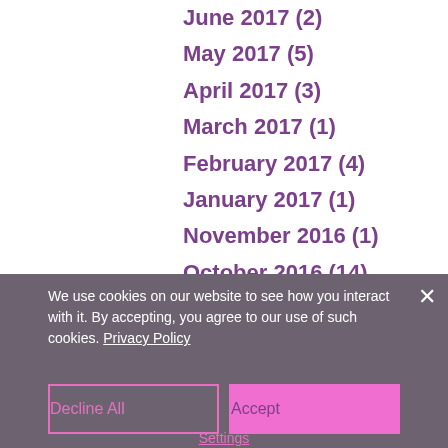June 2017 (2)
May 2017 (5)
April 2017 (3)
March 2017 (1)
February 2017 (4)
January 2017 (1)
November 2016 (1)
October 2016 (14)
March 2016 (1)
February 2016 (1)
December 2015 (3)
We use cookies on our website to see how you interact with it. By accepting, you agree to our use of such cookies. Privacy Policy
Decline All
Accept
Settings